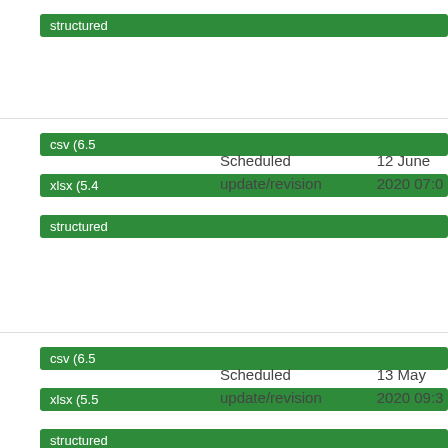structured
csv (6.5
xlsx (5.4
structured
Scheduled update/revision
12 June 2020 07:0
csv (6.5
xlsx (5.5
structured
Scheduled update/revision
13 May 2020 09:3